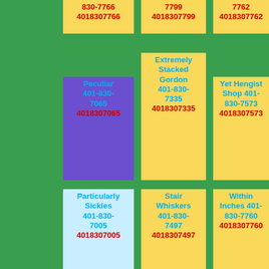830-7766
4018307766
7799
4018307799
7762
4018307762
Peculiar 401-830-7065
4018307065
Extremely Stacked Gordon 401-830-7335
4018307335
Yet Hengist Shop 401-830-7573
4018307573
Particularly Sickles 401-830-7005
4018307005
Stair Whiskers 401-830-7497
4018307497
Within Inches 401-830-7760
4018307760
September Felt 401-830-7713
4018307713
Scream Algie 401-830-7355
4018307355
Stiff Trem Positively 401-830-7982
4018307982